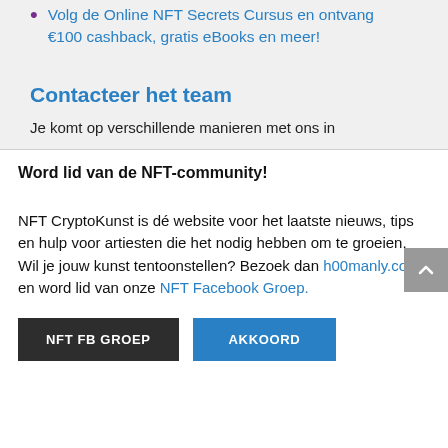Volg de Online NFT Secrets Cursus en ontvang €100 cashback, gratis eBooks en meer!
Contacteer het team
Je komt op verschillende manieren met ons in
Word lid van de NFT-community!
NFT CryptoKunst is dé website voor het laatste nieuws, tips en hulp voor artiesten die het nodig hebben om te groeien. Wil je jouw kunst tentoonstellen? Bezoek dan h00manly.com en word lid van onze NFT Facebook Groep.
NFT FB GROEP   AKKOORD